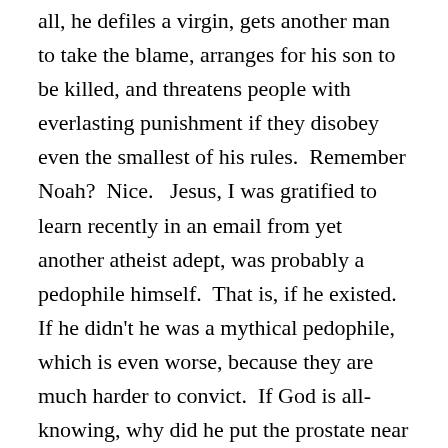all, he defiles a virgin, gets another man to take the blame, arranges for his son to be killed, and threatens people with everlasting punishment if they disobey even the smallest of his rules.  Remember Noah?  Nice.   Jesus, I was gratified to learn recently in an email from yet another atheist adept, was probably a pedophile himself.  That is, if he existed.  If he didn't he was a mythical pedophile, which is even worse, because they are much harder to convict.  If God is all-knowing, why did he put the prostate near the urethra?  If God is all good, why can't he give us the recipe to cure AIDS and cancer? Theologians call these little dilemmas “theodicy,” but in the hands of the new atheists they are simply idiocy one-liners for